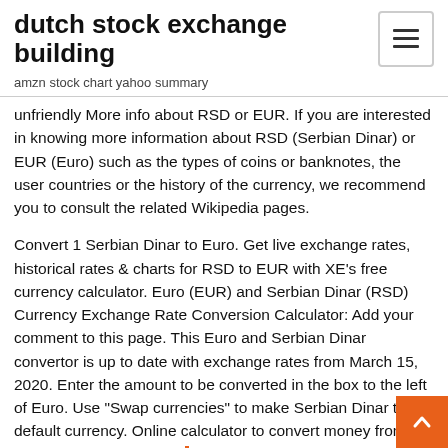dutch stock exchange building
amzn stock chart yahoo summary
unfriendly More info about RSD or EUR. If you are interested in knowing more information about RSD (Serbian Dinar) or EUR (Euro) such as the types of coins or banknotes, the user countries or the history of the currency, we recommend you to consult the related Wikipedia pages.
Convert 1 Serbian Dinar to Euro. Get live exchange rates, historical rates & charts for RSD to EUR with XE's free currency calculator. Euro (EUR) and Serbian Dinar (RSD) Currency Exchange Rate Conversion Calculator: Add your comment to this page. This Euro and Serbian Dinar convertor is up to date with exchange rates from March 15, 2020. Enter the amount to be converted in the box to the left of Euro. Use "Swap currencies" to make Serbian Dinar the default currency. Online calculator to convert money from Euro (EUR) to Serbian dinar (RSD) using up to date exchange rates. Source: free curre... rates (ECB).